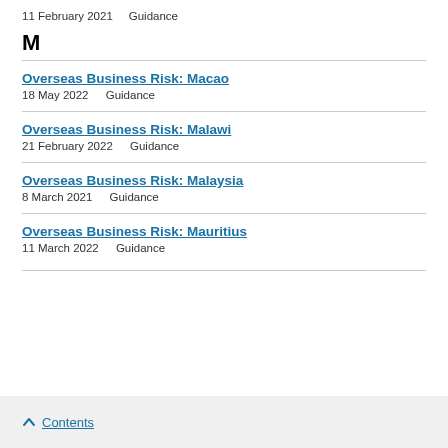11 February 2021    Guidance
M
Overseas Business Risk: Macao
18 May 2022    Guidance
Overseas Business Risk: Malawi
21 February 2022    Guidance
Overseas Business Risk: Malaysia
8 March 2021    Guidance
Overseas Business Risk: Mauritius
11 March 2022    Guidance
↑ Contents